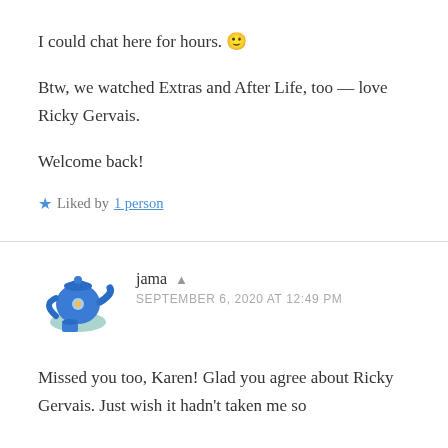I could chat here for hours. 🙂
Btw, we watched Extras and After Life, too — love Ricky Gervais.
Welcome back!
★ Liked by 1 person
jama ▲
SEPTEMBER 6, 2020 AT 12:49 PM
Missed you too, Karen! Glad you agree about Ricky Gervais. Just wish it hadn't taken me so